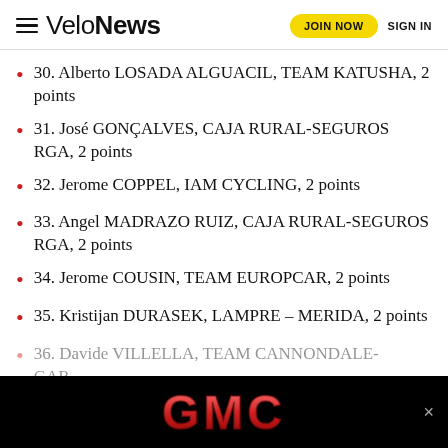VeloNews — JOIN NOW   SIGN IN
30. Alberto LOSADA ALGUACIL, TEAM KATUSHA, 2 points
31. José GONÇALVES, CAJA RURAL-SEGUROS RGA, 2 points
32. Jerome COPPEL, IAM CYCLING, 2 points
33. Angel MADRAZO RUIZ, CAJA RURAL-SEGUROS RGA, 2 points
34. Jerome COUSIN, TEAM EUROPCAR, 2 points
35. Kristijan DURASEK, LAMPRE – MERIDA, 2 points
36. Davide VILLELLA, TEAM CANNONDALE-GARMIN, ...
[Figure (advertisement): GMC advertisement banner in black background with red GMC logo and a close button]